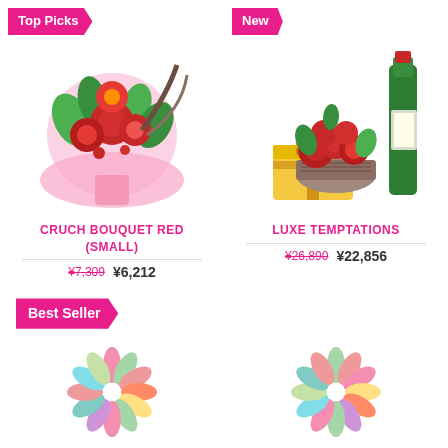[Figure (photo): Top Picks badge label in pink]
[Figure (photo): New badge label in pink]
[Figure (photo): Red flower bouquet wrapped in pink paper]
[Figure (photo): Luxe Temptations gift box with red roses and wine bottle]
CRUCH BOUQUET RED (SMALL)
¥7,309  ¥6,212
LUXE TEMPTATIONS
¥26,890  ¥22,856
[Figure (photo): Best Seller badge label in pink]
[Figure (photo): Loading spinner graphic left]
[Figure (photo): Loading spinner graphic right]